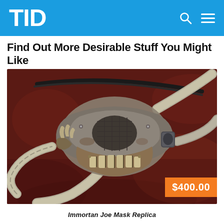TID
Find Out More Desirable Stuff You Might Like
[Figure (photo): A dystopian/post-apocalyptic skull-faced gas mask with corrugated hoses, metallic finish, and weathered details, resting on dark red fabric. A price tag overlay reads $400.00.]
Immortan Joe Mask Replica